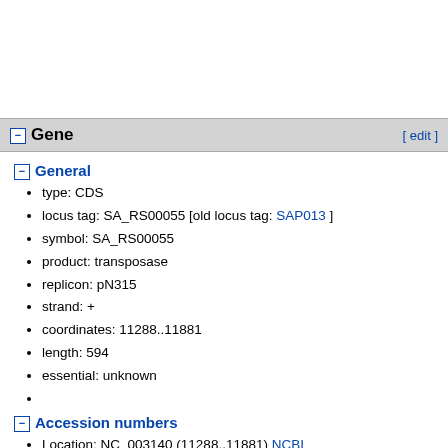Gene [ edit ]
General
type: CDS
locus tag: SA_RS00055 [old locus tag: SAP013 ]
symbol: SA_RS00055
product: transposase
replicon: pN315
strand: +
coordinates: 11288..11881
length: 594
essential: unknown
Accession numbers
Location: NC_003140 (11288..11881) NCBI
BioCyc: G1G21-2921 BioCyc